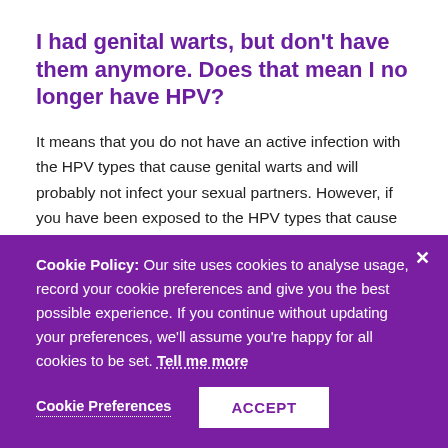I had genital warts, but don't have them anymore. Does that mean I no longer have HPV?
It means that you do not have an active infection with the HPV types that cause genital warts and will probably not infect your sexual partners. However, if you have been exposed to the HPV types that cause genital warts, you may also have been exposed to
Cookie Policy: Our site uses cookies to analyse usage, record your cookie preferences and give you the best possible experience. If you continue without updating your preferences, we'll assume you're happy for all cookies to be set. Tell me more
Cookie Preferences   ACCEPT